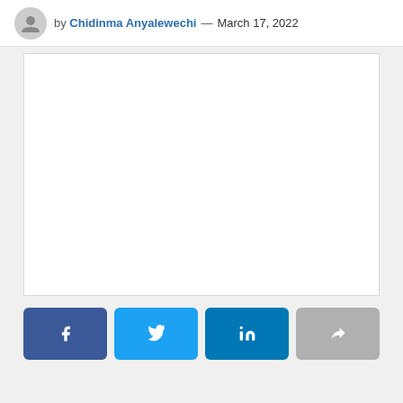by Chidinma Anyalewechi — March 17, 2022
[Figure (other): Blank white image placeholder box with light gray border]
Social share buttons: Facebook, Twitter, LinkedIn, Share